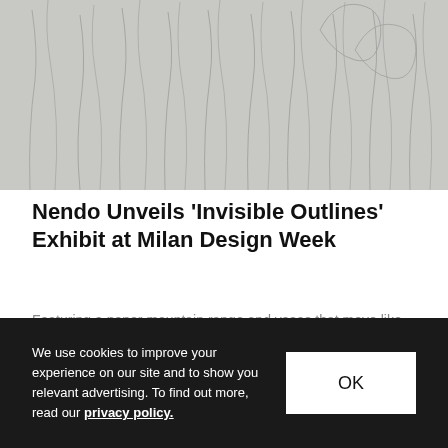[Figure (photo): Gray textured background image showing abstract thin curved lines resembling grass or reeds on a light gray surface]
Nendo Unveils 'Invisible Outlines' Exhibit at Milan Design Week
Featuring a paper mountain range and vases that move like jellyfish.
Design   Apr 7, 2017   🔥 1.8K   💬 0
We use cookies to improve your experience on our site and to show you relevant advertising. To find out more, read our privacy policy.